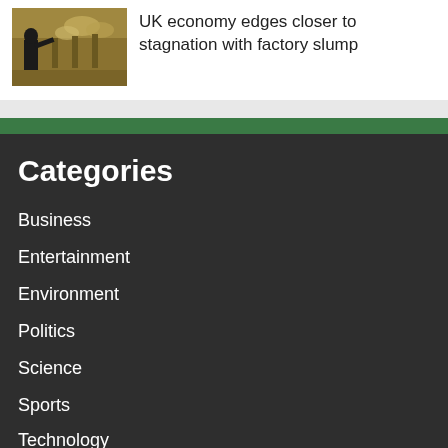[Figure (photo): Factory interior with machinery and a worker in dark clothing]
UK economy edges closer to stagnation with factory slump
Categories
Business
Entertainment
Environment
Politics
Science
Sports
Technology